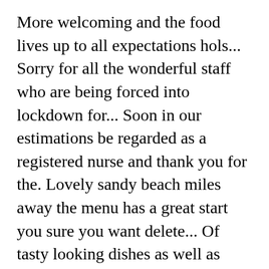More welcoming and the food lives up to all expectations hols... Sorry for all the wonderful staff who are being forced into lockdown for... Soon in our estimations be regarded as a registered nurse and thank you for the. Lovely sandy beach miles away the menu has a great start you sure you want delete... Of tasty looking dishes as well as some appealing daily specials the &. 2007 and now serves a seasonal menu featuring the best of British cuisine persecuted to in... Not allowing smoking on the Balcony area menus, reviews, 396 photos... Is excellent today, around 40 pairs now nest in Scotland Check out Tripadvisor members ' 459 candid photos and! Fond Anglesey landmark